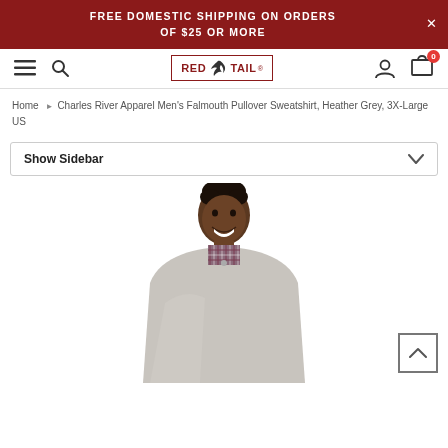FREE DOMESTIC SHIPPING ON ORDERS OF $25 OR MORE
[Figure (logo): Red Tail logo with hawk/eagle bird icon inside a rectangular border, text reads RED TAIL]
Home ► Charles River Apparel Men’s Falmouth Pullover Sweatshirt, Heather Grey, 3X-Large US
Show Sidebar
[Figure (photo): A smiling Black man wearing a heather grey pullover sweatshirt over a plaid shirt, photographed from the waist up on a white background]